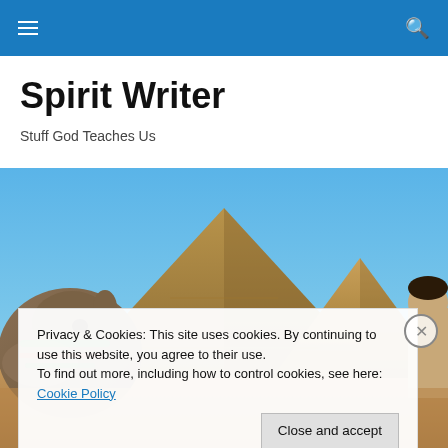Spirit Writer — navigation bar with hamburger menu and search icon
Spirit Writer
Stuff God Teaches Us
[Figure (photo): Hero image showing Egyptian pyramids under a blue sky with a camel in the foreground left and a person partially visible on the right]
Privacy & Cookies: This site uses cookies. By continuing to use this website, you agree to their use.
To find out more, including how to control cookies, see here: Cookie Policy
Close and accept